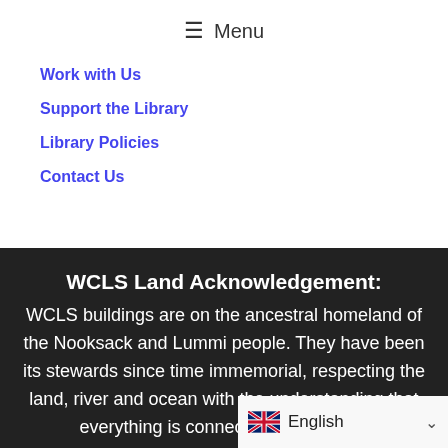☰ Menu
Work with Us
Support the Library
Library Policies
Contact Us
WCLS Land Acknowledgement:
WCLS buildings are on the ancestral homeland of the Nooksack and Lummi people. They have been its stewards since time immemorial, respecting the land, river and ocean with the understanding that everything is connected, related and
English